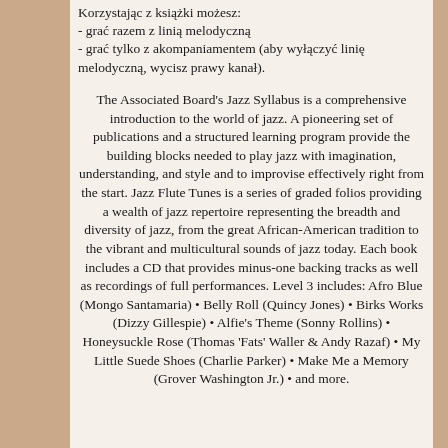Korzystając z książki możesz:
- grać razem z linią melodyczną
- grać tylko z akompaniamentem (aby wyłączyć linię melodyczną, wycisz prawy kanał).
The Associated Board's Jazz Syllabus is a comprehensive introduction to the world of jazz. A pioneering set of publications and a structured learning program provide the building blocks needed to play jazz with imagination, understanding, and style and to improvise effectively right from the start. Jazz Flute Tunes is a series of graded folios providing a wealth of jazz repertoire representing the breadth and diversity of jazz, from the great African-American tradition to the vibrant and multicultural sounds of jazz today. Each book includes a CD that provides minus-one backing tracks as well as recordings of full performances. Level 3 includes: Afro Blue (Mongo Santamaria) • Belly Roll (Quincy Jones) • Birks Works (Dizzy Gillespie) • Alfie's Theme (Sonny Rollins) • Honeysuckle Rose (Thomas 'Fats' Waller & Andy Razaf) • My Little Suede Shoes (Charlie Parker) • Make Me a Memory (Grover Washington Jr.) • and more.